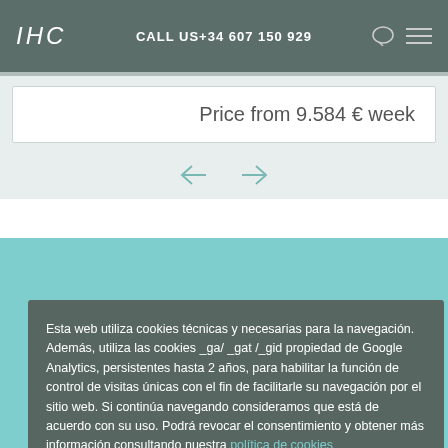IHC   CALL US+34 607 150 929
Price from 9.584 € week
Esta web utiliza cookies técnicas y necesarias para la navegación. Además, utiliza las cookies _ga/ _gat /_gid propiedad de Google Analytics, persistentes hasta 2 años, para habilitar la función de control de visitas únicas con el fin de facilitarle su navegación por el sitio web. Si continúa navegando consideramos que está de acuerdo con su uso. Podrá revocar el consentimiento y obtener más información consultando nuestra política de cookies
ACEPTO
NO  ACEPTO